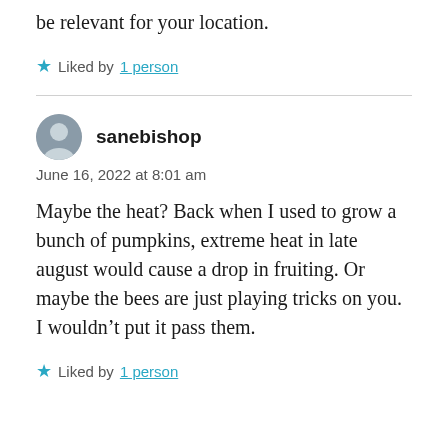be relevant for your location.
★ Liked by 1 person
sanebishop
June 16, 2022 at 8:01 am
Maybe the heat? Back when I used to grow a bunch of pumpkins, extreme heat in late august would cause a drop in fruiting. Or maybe the bees are just playing tricks on you. I wouldn't put it pass them.
★ Liked by 1 person